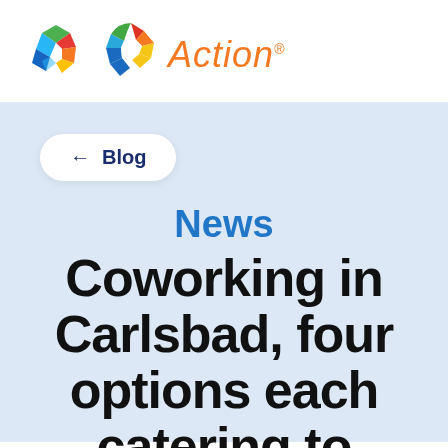[Figure (logo): Action brand logo: colorful hexagon shape with green, red, orange, yellow, and blue segments, next to italic orange text 'Action' with a registered trademark symbol]
← Blog
News
Coworking in Carlsbad, four options each catering to